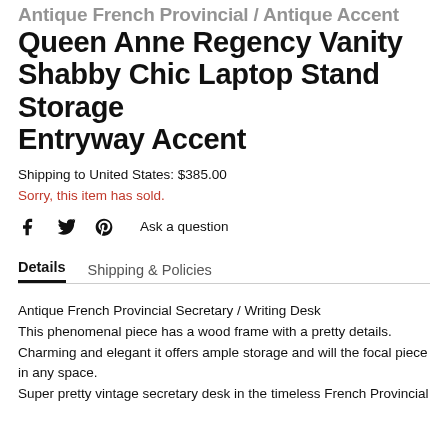Antique French Provincial / Antique Accent Queen Anne Regency Vanity Shabby Chic Laptop Stand Storage Entryway Accent
Shipping to United States: $385.00
Sorry, this item has sold.
Ask a question
Details  Shipping & Policies
Antique French Provincial Secretary / Writing Desk
This phenomenal piece has a wood frame with a pretty details.
Charming and elegant it offers ample storage and will the focal piece in any space.
Super pretty vintage secretary desk in the timeless French Provincial